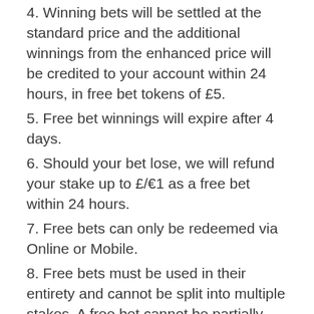4. Winning bets will be settled at the standard price and the additional winnings from the enhanced price will be credited to your account within 24 hours, in free bet tokens of £5.
5. Free bet winnings will expire after 4 days.
6. Should your bet lose, we will refund your stake up to £/€1 as a free bet within 24 hours.
7. Free bets can only be redeemed via Online or Mobile.
8. Free bets must be used in their entirety and cannot be split into multiple stakes. A free bet cannot be partially redeemed. If you attempt to place a bet for a lesser total stake than the value of your free bet,